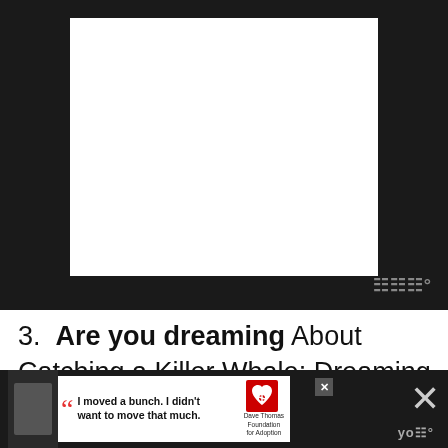[Figure (screenshot): Dark-themed video player UI with a blank white screen area in the center, watermark in bottom right corner showing stylized 'W' symbol with degree mark]
3. Are you dreaming About Catching a Killer Whale: Dreaming about catching a killer whale? It is a good luck sign. Your
[Figure (screenshot): Advertisement banner for Dave Thomas Foundation for Adoption featuring a young boy and quote 'I moved a bunch. I didn't want to move that much.' with close button and X icon]